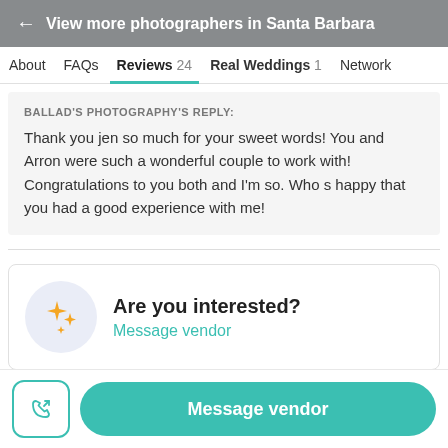← View more photographers in Santa Barbara
About  FAQs  Reviews 24  Real Weddings 1  Network
BALLAD'S PHOTOGRAPHY'S REPLY:
Thank you jen so much for your sweet words! You and Arron were such a wonderful couple to work with! Congratulations to you both and I'm so. Who s happy that you had a good experience with me!
Are you interested?
Message vendor
Message vendor